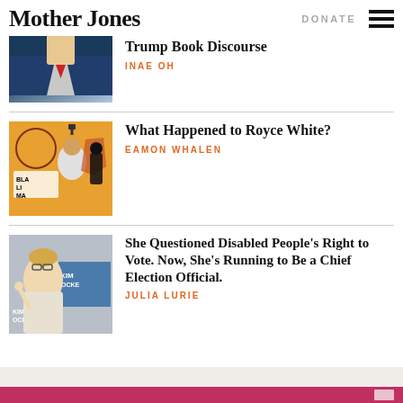Mother Jones | DONATE
[Figure (photo): Partial photo of Trump in blue suit with red tie]
Trump Book Discourse
INAE OH
[Figure (illustration): Orange background illustration with Black Lives Matter imagery, figure raising fist, Minnesota state outline]
What Happened to Royce White?
EAMON WHALEN
[Figure (photo): Woman with glasses and blonde hair speaking at Kim Crockett Secretary of State event]
She Questioned Disabled People's Right to Vote. Now, She's Running to Be a Chief Election Official.
JULIA LURIE